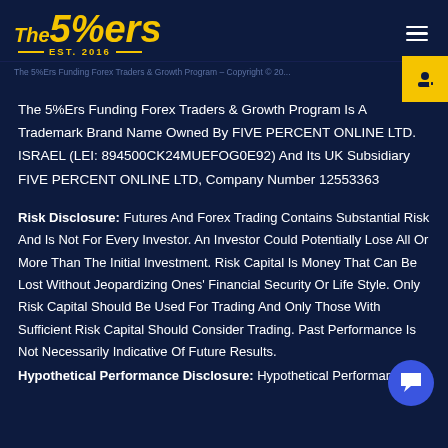[Figure (logo): The 5%ers logo with EST. 2016 text in yellow on dark navy background]
The 5%Ers Funding Forex Traders & Growth Program – Copyright © 20...
The 5%Ers Funding Forex Traders & Growth Program Is A Trademark Brand Name Owned By FIVE PERCENT ONLINE LTD. ISRAEL (LEI: 894500CK24MUEFOG0E92) And Its UK Subsidiary FIVE PERCENT ONLINE LTD, Company Number 12553363
Risk Disclosure: Futures And Forex Trading Contains Substantial Risk And Is Not For Every Investor. An Investor Could Potentially Lose All Or More Than The Initial Investment. Risk Capital Is Money That Can Be Lost Without Jeopardizing Ones' Financial Security Or Life Style. Only Risk Capital Should Be Used For Trading And Only Those With Sufficient Risk Capital Should Consider Trading. Past Performance Is Not Necessarily Indicative Of Future Results.
Hypothetical Performance Disclosure: Hypothetical Performance...